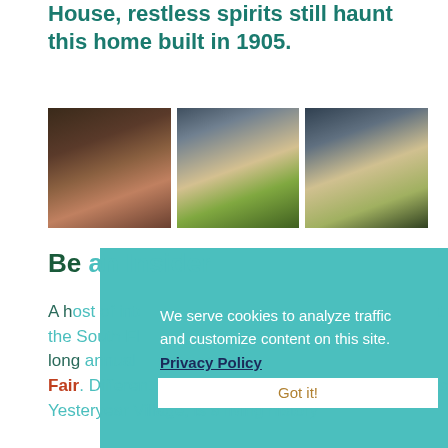House, restless spirits still haunt this home built in 1905.
[Figure (photo): Three photos side by side: left shows a mother and child smiling at an outdoor event; center shows a young girl eating corn on the cob; right shows people serving food at an outdoor booth.]
Be an Insider
[Figure (screenshot): Cookie consent popup overlay with teal background reading: 'We serve cookies to analyze traffic and customize content on this site.' with a Privacy Policy link and a 'Got it!' button.]
A host of interesting and distinctive events happen at the South Florida Fairgrounds besides the 17-day long annual South Florida Fair. Different venues within the Fairgrounds such as Yesteryear Village, is a living history